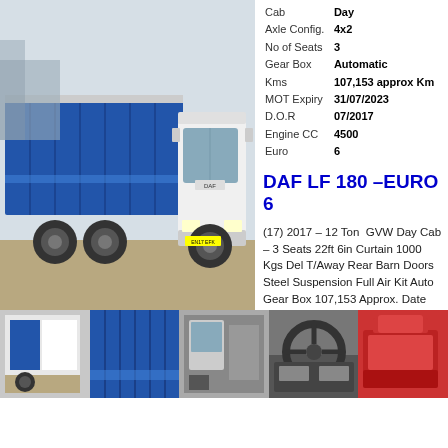[Figure (photo): DAF LF 180 truck with blue curtain side body, white cab, parked in yard]
| Spec | Value |
| --- | --- |
| Cab | Day |
| Axle Config. | 4x2 |
| No of Seats | 3 |
| Gear Box | Automatic |
| Kms | 107,153 approx Km |
| MOT Expiry | 31/07/2023 |
| D.O.R | 07/2017 |
| Engine CC | 4500 |
| Euro | 6 |
DAF LF 180 –EURO 6
(17) 2017 – 12 Ton  GVW Day Cab – 3 Seats 22ft 6in Curtain 1000 Kgs Del T/Away Rear Barn Doors Steel Suspension Full Air Kit Auto Gear Box 107,153 Approx. Date Registered 06/07/2017 MOT Expiry 31/07/2023 Engine CC: 4500 – BHP: 180
[Figure (photo): Rear curtain side of truck]
[Figure (photo): Blue curtain side panel close-up]
[Figure (photo): Cab interior door area]
[Figure (photo): Steering wheel and dashboard]
[Figure (photo): Red seat interior]